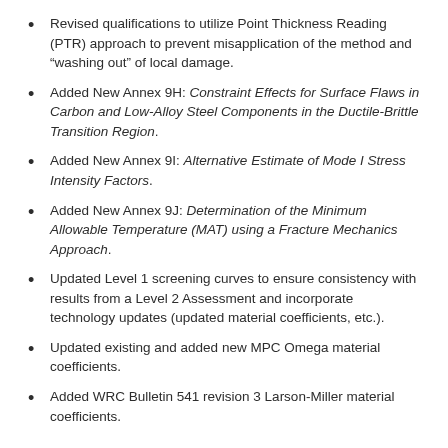Revised qualifications to utilize Point Thickness Reading (PTR) approach to prevent misapplication of the method and “washing out” of local damage.
Added New Annex 9H: Constraint Effects for Surface Flaws in Carbon and Low-Alloy Steel Components in the Ductile-Brittle Transition Region.
Added New Annex 9I: Alternative Estimate of Mode I Stress Intensity Factors.
Added New Annex 9J: Determination of the Minimum Allowable Temperature (MAT) using a Fracture Mechanics Approach.
Updated Level 1 screening curves to ensure consistency with results from a Level 2 Assessment and incorporate technology updates (updated material coefficients, etc.).
Updated existing and added new MPC Omega material coefficients.
Added WRC Bulletin 541 revision 3 Larson-Miller material coefficients.